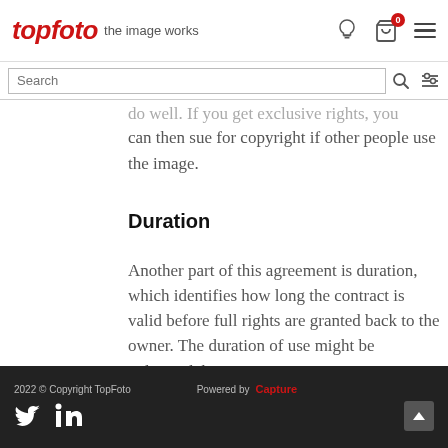topfoto the image works
can then sue for copyright if other people use the image.
Duration
Another part of this agreement is duration, which identifies how long the contract is valid before full rights are granted back to the owner. The duration of use might be unlimited, but owners
2022 © Copyright TopFoto  Powered by Capture